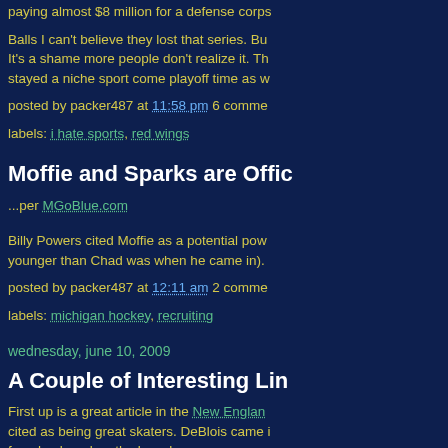paying almost $8 million for a defense corps
Balls I can't believe they lost that series. Bu It's a shame more people don't realize it. Th stayed a niche sport come playoff time as w
posted by packer487 at 11:58 pm 6 comme
labels: i hate sports, red wings
Moffie and Sparks are Offic
...per MGoBlue.com
Billy Powers cited Moffie as a potential pow younger than Chad was when he came in).
posted by packer487 at 12:11 am 2 comme
labels: michigan hockey, recruiting
wednesday, june 10, 2009
A Couple of Interesting Lin
First up is a great article in the New Englan cited as being great skaters. DeBlois came i forecheck and on the boards.
Bennett? Well: